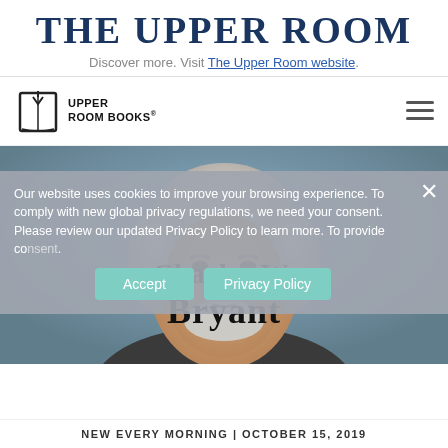THE UPPER ROOM
Discover more. Visit The Upper Room website.
[Figure (logo): Upper Room Books logo with book/cross icon and text 'UPPER ROOM BOOKS']
[Figure (photo): Portrait photo of an older man with gray hair and beard against a blue-gray background, partially overlaid with text 'Charles W. Bryant']
Our website uses cookies to improve your browsing experience. To comply with new global privacy regulations, we need your consent. Please review our updated Privacy Policy to learn more. To provide co... consent.
Accept   Privacy Policy
NEW EVERY MORNING | OCTOBER 15, 2019